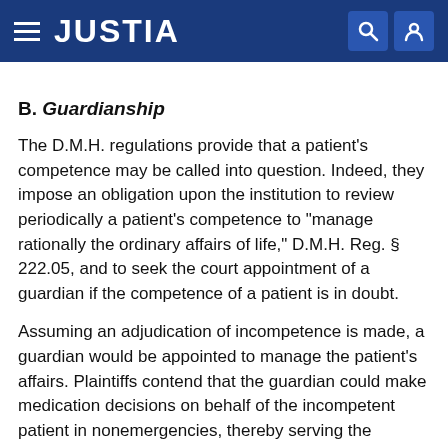JUSTIA
B. Guardianship
The D.M.H. regulations provide that a patient's competence may be called into question. Indeed, they impose an obligation upon the institution to review periodically a patient's competence to "manage rationally the ordinary affairs of life," D.M.H. Reg. § 222.05, and to seek the court appointment of a guardian if the competence of a patient is in doubt.
Assuming an adjudication of incompetence is made, a guardian would be appointed to manage the patient's affairs. Plaintiffs contend that the guardian could make medication decisions on behalf of the incompetent patient in nonemergencies, thereby serving the Commonwealth's parens patriae interest in treating the